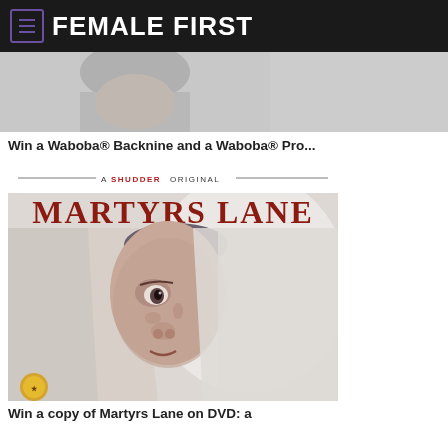FEMALE FIRST
[Figure (photo): Partial image of a person, cropped at bottom, gray/white tones]
Win a Waboba® Backnine and a Waboba® Pro...
[Figure (photo): Martyrs Lane movie poster - A Shudder Original, showing a child's face partially hidden behind a white curtain, with textured/aged skin appearance]
Win a copy of Martyrs Lane on DVD: a